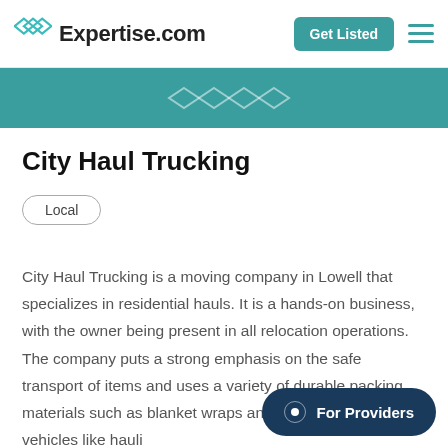Expertise.com | Get Listed
City Haul Trucking
Local
City Haul Trucking is a moving company in Lowell that specializes in residential hauls. It is a hands-on business, with the owner being present in all relocation operations. The company puts a strong emphasis on the safe transport of items and uses a variety of durable packing materials such as blanket wraps and boxes, and logistics vehicles like hauling. Bookings and moving arrangements by contacting the company's service hotline.